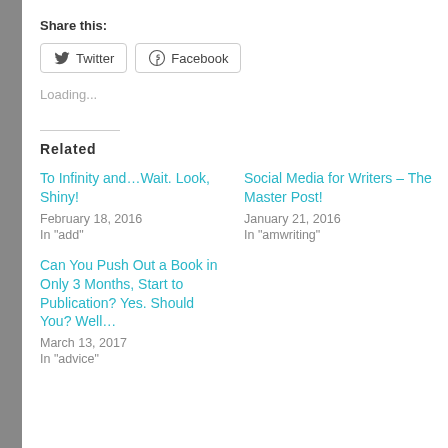Share this:
Twitter  Facebook
Loading...
Related
To Infinity and…Wait. Look, Shiny!
February 18, 2016
In "add"
Social Media for Writers – The Master Post!
January 21, 2016
In "amwriting"
Can You Push Out a Book in Only 3 Months, Start to Publication? Yes. Should You? Well…
March 13, 2017
In "advice"